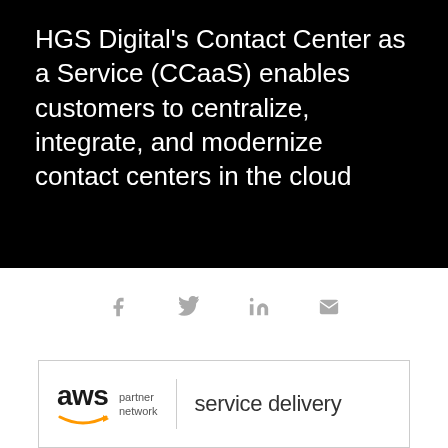HGS Digital's Contact Center as a Service (CCaaS) enables customers to centralize, integrate, and modernize contact centers in the cloud
[Figure (infographic): Social media sharing icons: Facebook (f), Twitter (bird/y), LinkedIn (in), Email (envelope)]
[Figure (logo): AWS Partner Network | service delivery badge/logo inside a bordered box]